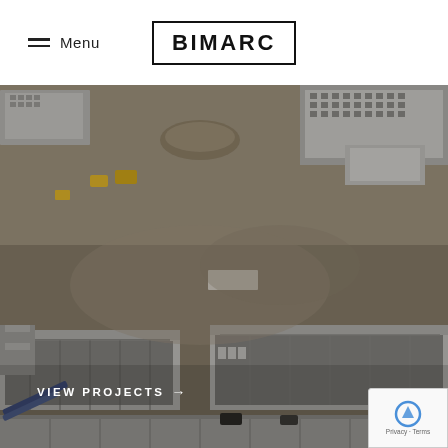Menu  |  BIMARC
[Figure (photo): Aerial photograph of a large construction site showing several partially constructed industrial or institutional buildings with concrete walls, open steel roof structures, scattered construction equipment, vehicles, and materials on a flat, barren terrain.]
VIEW PROJECTS →